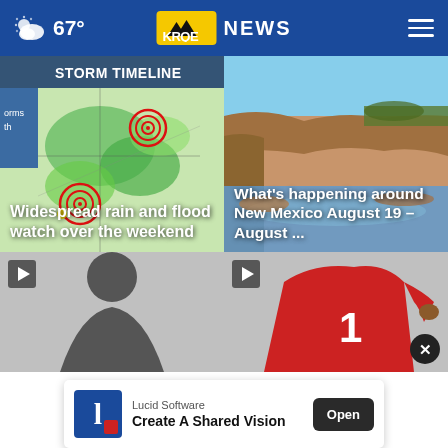67° KRQE NEWS
[Figure (screenshot): Storm timeline weather radar map with red target circles over New Mexico and surrounding states, green precipitation overlay]
Widespread rain and flood watch over the weekend
[Figure (photo): River scene in New Mexico - shallow river with rocky banks, cliffs and blue sky in background]
What's happening around New Mexico August 19 – August ...
[Figure (screenshot): Dark silhouette thumbnail with play button - news video thumbnail]
[Figure (screenshot): Sports thumbnail showing football player in red jersey number 1 with play button]
[Figure (screenshot): Advertisement banner for Lucid Software: Create A Shared Vision - with Open button]